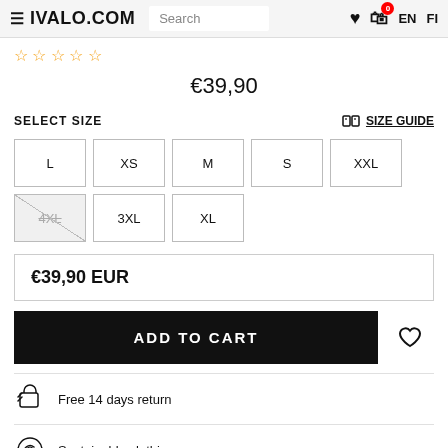IVALO.COM | Search | EN | FI
☆☆☆☆☆
€39,90
SELECT SIZE
SIZE GUIDE
L
XS
M
S
XXL
4XL (unavailable)
3XL
XL
€39,90 EUR
ADD TO CART
Free 14 days return
Sustainable clothing